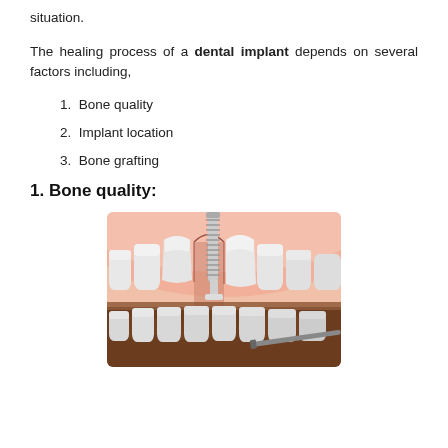situation.
The healing process of a dental implant depends on several factors including,
1.  Bone quality
2.  Implant location
3.  Bone grafting
1. Bone quality:
[Figure (illustration): Medical illustration showing a dental implant (screw-type titanium post) being placed in the jaw between teeth, with cross-sectional view showing gum tissue and bone structure. Both upper and lower teeth rows visible.]